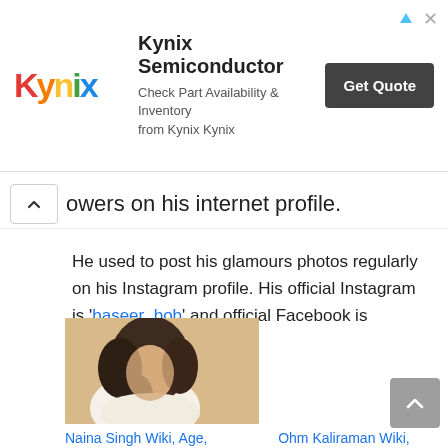[Figure (screenshot): Kynix Semiconductor advertisement banner with logo, tagline 'Check Part Availability & Inventory from Kynix Kynix', and a 'Get Quote' button]
owers on his internet profile.
He used to post his glamours photos regularly on his Instagram profile. His official Instagram is 'baseer_bob' and official Facebook is 'baseeralibob'.
[Figure (photo): Photo of Naina Singh, a woman with curly dark hair wearing white clothing]
Naina Singh Wiki, Age, Boyfriend, Family
Ohm Kaliraman Wiki, Age, Height, Family